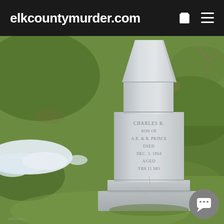elkcountymurder.com
[Figure (photo): Photograph of a white marble obelisk-style gravestone in a cemetery setting. The gravestone has engraved text reading 'CHARLES R.' with additional lines partially legible including 'SON OF', 'A.R. & B. PRINCE', 'DIED', 'DEC. 3, 1864', 'AGED', 'YRS 11 MO'. The stone stands on a tiered base. Green grass surrounds the stone with patches of snow visible at lower left. A chat button icon is visible in the lower right corner.]